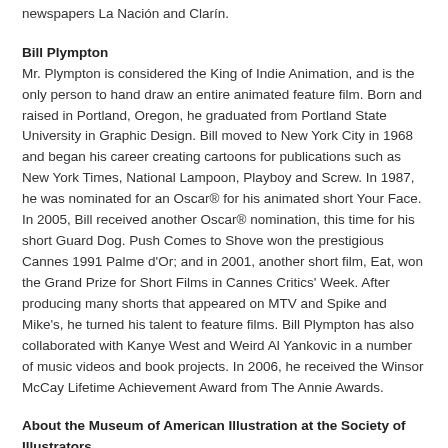has also worked for several magazines and journals, including Le Monde (Paris), The New Yorker (USA), Noticas, Humor, and the newspapers La Nación and Clarín.
Bill Plympton
Mr. Plympton is considered the King of Indie Animation, and is the only person to hand draw an entire animated feature film. Born and raised in Portland, Oregon, he graduated from Portland State University in Graphic Design. Bill moved to New York City in 1968 and began his career creating cartoons for publications such as New York Times, National Lampoon, Playboy and Screw. In 1987, he was nominated for an Oscar® for his animated short Your Face. In 2005, Bill received another Oscar® nomination, this time for his short Guard Dog. Push Comes to Shove won the prestigious Cannes 1991 Palme d'Or; and in 2001, another short film, Eat, won the Grand Prize for Short Films in Cannes Critics' Week. After producing many shorts that appeared on MTV and Spike and Mike's, he turned his talent to feature films. Bill Plympton has also collaborated with Kanye West and Weird Al Yankovic in a number of music videos and book projects. In 2006, he received the Winsor McCay Lifetime Achievement Award from The Annie Awards.
About the Museum of American Illustration at the Society of Illustrators